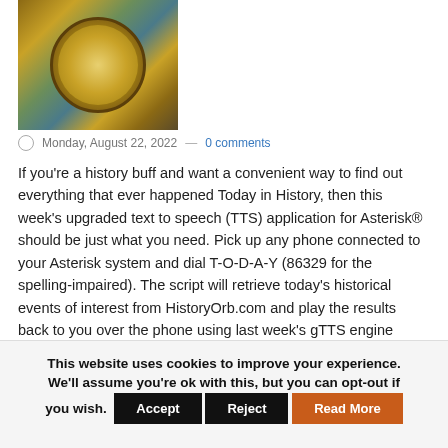[Figure (photo): Vintage world map with antique clock overlay, sepia and earth tones]
Monday, August 22, 2022 — 0 comments
If you're a history buff and want a convenient way to find out everything that ever happened Today in History, then this week's upgraded text to speech (TTS) application for Asterisk® should be just what you need. Pick up any phone connected to your Asterisk system and dial T-O-D-A-Y (86329 for the spelling-impaired). The script will retrieve today's historical events of interest from HistoryOrb.com and play the results back to you over the phone using last week's gTTS engine update.... READ MORE ›
This website uses cookies to improve your experience. We'll assume you're ok with this, but you can opt-out if you wish. Accept Reject Read More